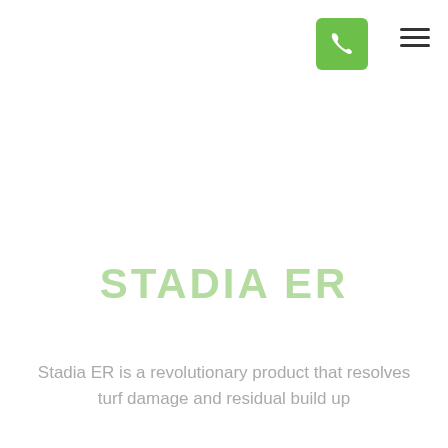[Figure (other): Green phone button icon (call to action) with hamburger menu icon to the right, in the page header area]
STADIA ER
Stadia ER is a revolutionary product that resolves turf damage and residual build up